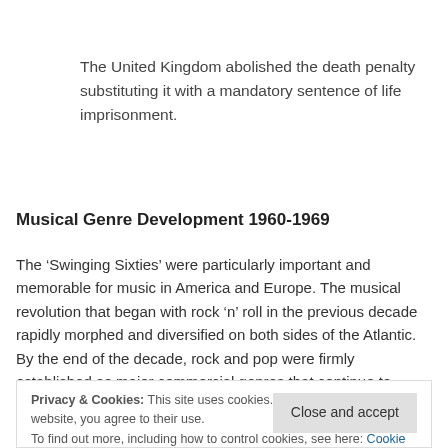The United Kingdom abolished the death penalty substituting it with a mandatory sentence of life imprisonment.
Musical Genre Development 1960-1969
The ‘Swinging Sixties’ were particularly important and memorable for music in America and Europe. The musical revolution that began with rock ‘n’ roll in the previous decade rapidly morphed and diversified on both sides of the Atlantic. By the end of the decade, rock and pop were firmly established as major commercial genres that continue to flourish and adapt to the
Privacy & Cookies: This site uses cookies. By continuing to use this website, you agree to their use.
To find out more, including how to control cookies, see here: Cookie Policy
more portable. As the famous quote, probably attributed to